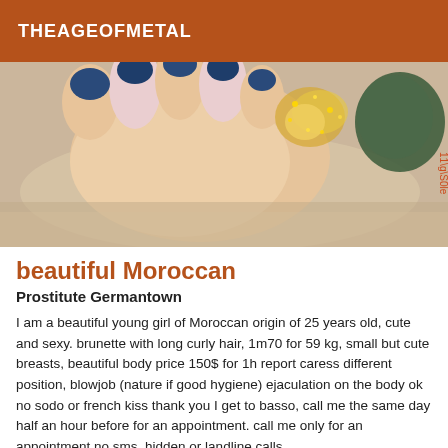THEAGEOFMETAL
[Figure (photo): Close-up photo of feet with blue nail polish and glitter decoration on a textured rug]
beautiful Moroccan
Prostitute Germantown
I am a beautiful young girl of Moroccan origin of 25 years old, cute and sexy. brunette with long curly hair, 1m70 for 59 kg, small but cute breasts, beautiful body price 150$ for 1h report caress different position, blowjob (nature if good hygiene) ejaculation on the body ok no sodo or french kiss thank you I get to basso, call me the same day half an hour before for an appointment. call me only for an appointment no sms, hidden or landline calls